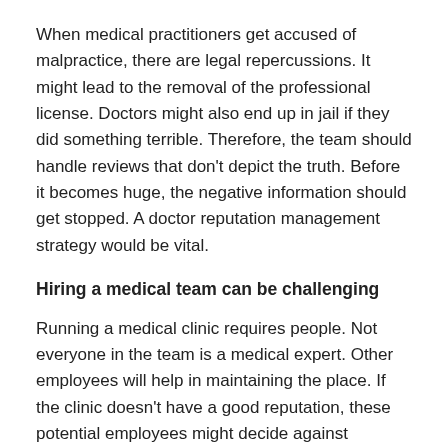When medical practitioners get accused of malpractice, there are legal repercussions. It might lead to the removal of the professional license. Doctors might also end up in jail if they did something terrible. Therefore, the team should handle reviews that don't depict the truth. Before it becomes huge, the negative information should get stopped. A doctor reputation management strategy would be vital.
Hiring a medical team can be challenging
Running a medical clinic requires people. Not everyone in the team is a medical expert. Other employees will help in maintaining the place. If the clinic doesn't have a good reputation, these potential employees might decide against applying for the post. They would rather work with other medical service providers. Even existing employees will start thinking about jumping ship. They don't want anything to do with a clinic that has a tarnished reputation.
It can harm the clinic's viability